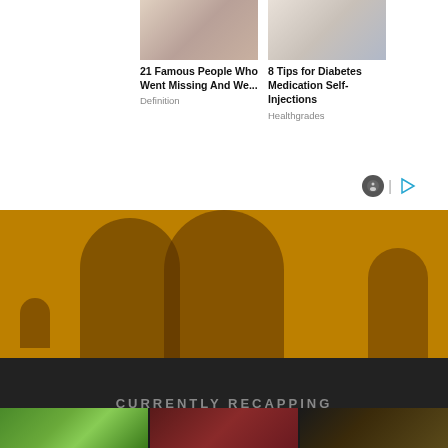[Figure (photo): Thumbnail image for '21 Famous People Who Went Missing And We...' article]
21 Famous People Who Went Missing And We...
Definition
[Figure (photo): Thumbnail image for '8 Tips for Diabetes Medication Self-Injections' article]
8 Tips for Diabetes Medication Self-Injections
Healthgrades
[Figure (photo): Golden-toned banner with silhouetted figures, likely a drama or TV show promotional image]
CURRENTLY RECAPPING
[Figure (photo): Green outdoor scene thumbnail]
[Figure (photo): Dark red indoor scene thumbnail]
[Figure (photo): Dark golden scene thumbnail]